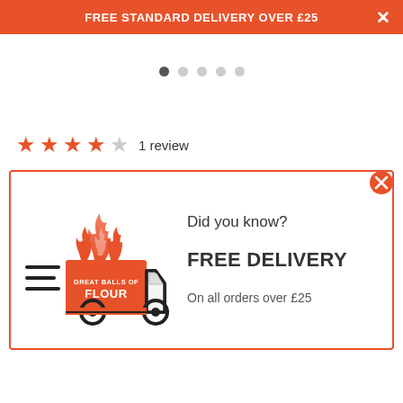FREE STANDARD DELIVERY OVER £25
[Figure (infographic): Carousel pagination dots, 5 dots with first one filled/dark]
★★★★☆ 1 review
[Figure (illustration): Popup card with orange-bordered box containing a delivery truck illustration with flames and 'Great Balls of Flour' branding, plus text 'Did you know? FREE DELIVERY On all orders over £25'. Orange X close button in top right.]